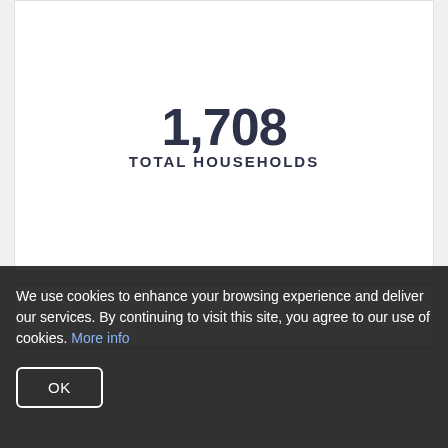1,708
TOTAL HOUSEHOLDS
We use cookies to enhance your browsing experience and deliver our services. By continuing to visit this site, you agree to our use of cookies. More info
OK